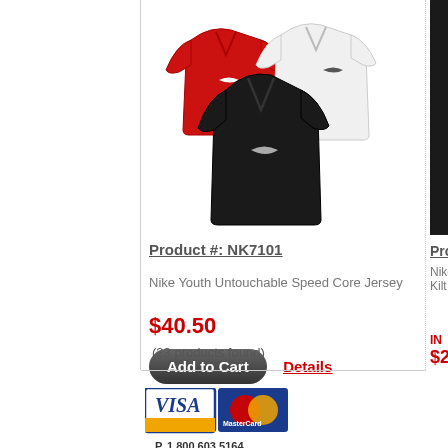[Figure (photo): Three Nike jerseys: red, white, and black v-neck short sleeve with Nike swoosh]
Product #: NK7101
Nike Youth Untouchable Speed Core Jersey
$40.50
Add to Cart
Details
(23 products found)
Pro
Nike Kilt B
IN
$29
[Figure (logo): Visa and MasterCard payment icons]
P. 1.800.603.5164
F. 1.855.212.5401